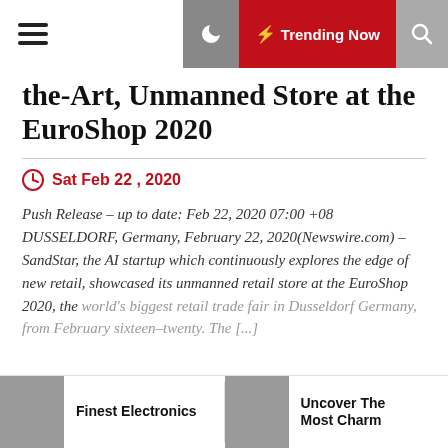Trending Now
the-Art, Unmanned Store at the EuroShop 2020
Sat Feb 22 , 2020
Push Release – up to date: Feb 22, 2020 07:00 +08 DUSSELDORF, Germany, February 22, 2020(Newswire.com) – SandStar, the AI startup which continuously explores the edge of new retail, showcased its unmanned retail store at the EuroShop 2020, the world's biggest retail trade fair in Dusseldorf Germany, from February sixteen–twenty. The [...]
Finest Electronics
Uncover The Most Charm